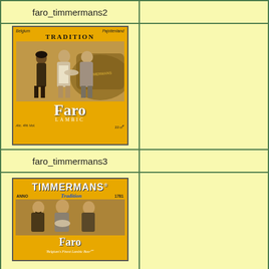| Image | Empty |
| --- | --- |
| faro_timmermans2 |  |
| [Faro Lambic Timmermans beer label image - Belgium, Pajottenland, Tradition, sepia photo of three brewery workers, Faro Lambic, Alc. 4% Vol., 33 cl] |  |
| faro_timmermans3 |  |
| [Timmermans Tradition Anno 1781 Faro Belgium's Finest Lambic Beer label image - three workers photo] |  |